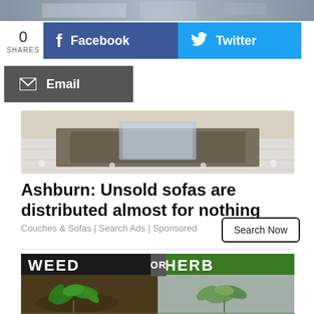[Figure (photo): Top banner photo of a store or showroom interior]
0
SHARES
Facebook
Twitter
Email
[Figure (photo): Furniture showroom with rugs and glass table]
Ashburn: Unsold sofas are distributed almost for nothing
Couches & Sofas | Search Ads | Sponsored
Search Now
[Figure (photo): Weed or Herb comparison image with left half labeled WEED on dark background and right half labeled HERB on green background, showing two plants]